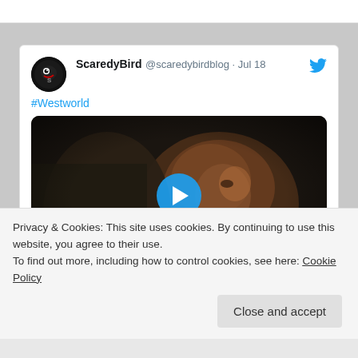[Figure (screenshot): Twitter/social media embed showing ScaredyBird @scaredybirdblog tweet from Jul 18 with #Westworld hashtag and a video thumbnail of a dark scene with a play button overlay]
Privacy & Cookies: This site uses cookies. By continuing to use this website, you agree to their use.
To find out more, including how to control cookies, see here: Cookie Policy
Close and accept